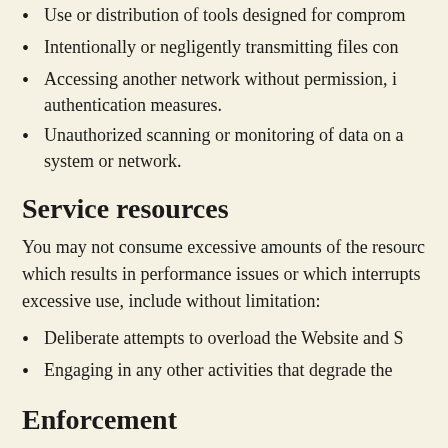Use or distribution of tools designed for compromising networks.
Intentionally or negligently transmitting files containing malware.
Accessing another network without permission, including bypassing authentication measures.
Unauthorized scanning or monitoring of data on any system or network.
Service resources
You may not consume excessive amounts of the resources of the service which results in performance issues or which interrupts other users. Examples of excessive use, include without limitation:
Deliberate attempts to overload the Website and Services.
Engaging in any other activities that degrade the usability of the service.
Enforcement
We reserve our right to be the sole arbiter in determining the seriousness of each infringement and to immediately take corrective actions, including but not limited to:
Suspending or terminating your Service with or without notice.
Disabling or removing any content which is prohibited by this policy, or by the laws or regulations applicable to the Website and Services, as determined by us in our sole discretion.